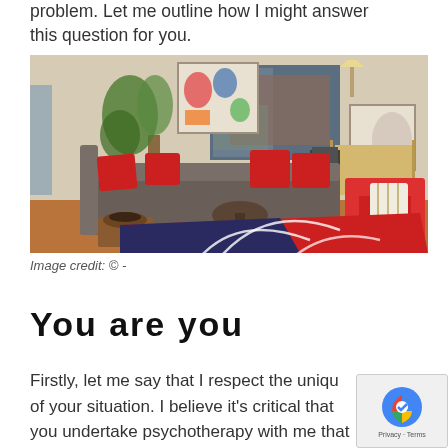problem. Let me outline how I might answer this question for you.
[Figure (photo): Interior of a therapy office room with grey L-shaped sofa with red cushions, red armchair, colorful artwork on walls, a plant, a desk with chair, and a geometric red and dark blue rug on the floor.]
Image credit: © -
You are you
Firstly, let me say that I respect the uniqu of your situation. I believe it's critical that you undertake psychotherapy with me that you